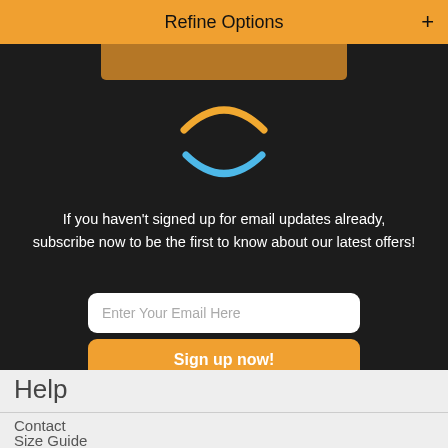Refine Options +
[Figure (logo): Amazon logo arcs: yellow upper arc and blue lower arc on dark background]
If you haven't signed up for email updates already, subscribe now to be the first to know about our latest offers!
Enter Your Email Here
Sign up now!
We will only use your data in line with our Privacy Policy.
Help
Contact
Size Guide
FAQ